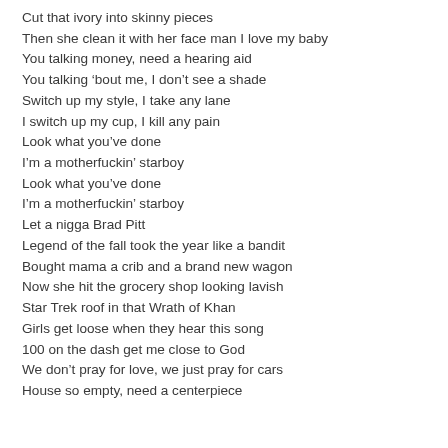Cut that ivory into skinny pieces
Then she clean it with her face man I love my baby
You talking money, need a hearing aid
You talking ‘bout me, I don’t see a shade
Switch up my style, I take any lane
I switch up my cup, I kill any pain
Look what you’ve done
I’m a motherfuckin’ starboy
Look what you’ve done
I’m a motherfuckin’ starboy
Let a nigga Brad Pitt
Legend of the fall took the year like a bandit
Bought mama a crib and a brand new wagon
Now she hit the grocery shop looking lavish
Star Trek roof in that Wrath of Khan
Girls get loose when they hear this song
100 on the dash get me close to God
We don’t pray for love, we just pray for cars
House so empty, need a centerpiece